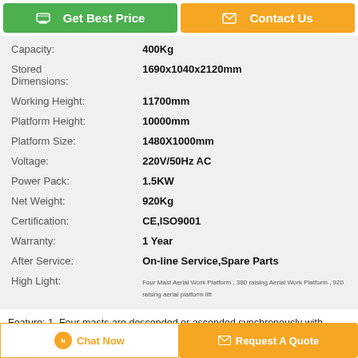Get Best Price | Contact Us
| Property | Value |
| --- | --- |
| Capacity: | 400Kg |
| Stored Dimensions: | 1690x1040x2120mm |
| Working Height: | 11700mm |
| Platform Height: | 10000mm |
| Platform Size: | 1480X1000mm |
| Voltage: | 220V/50Hz AC |
| Power Pack: | 1.5KW |
| Net Weight: | 920Kg |
| Certification: | CE,ISO9001 |
| Warranty: | 1 Year |
| After Service: | On-line Service,Spare Parts |
| High Light: | Four Mast Aerial Work Platform , 380 raising Aerial Work Platform , 920 raising aerial platform lift |
Feature: 1. Four masts are descended or ascended synchronously with excellent stability; 2. With guardrail similar to that of double mast aerial work platform; 3.
Chat Now | Request A Quote